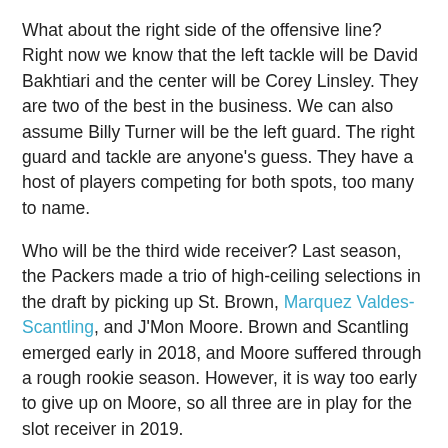What about the right side of the offensive line? Right now we know that the left tackle will be David Bakhtiari and the center will be Corey Linsley. They are two of the best in the business. We can also assume Billy Turner will be the left guard. The right guard and tackle are anyone's guess. They have a host of players competing for both spots, too many to name.
Who will be the third wide receiver? Last season, the Packers made a trio of high-ceiling selections in the draft by picking up St. Brown, Marquez Valdes-Scantling, and J'Mon Moore. Brown and Scantling emerged early in 2018, and Moore suffered through a rough rookie season. However, it is way too early to give up on Moore, so all three are in play for the slot receiver in 2019.
Who will be the other defensive end? We know that Kenny Clark will be the nose tackle and Mike Daniels will be one of the defensive ends. Montravius Adams begins the summer as the other defensive end, but that could change. James Looney, Dean Lowry, and rookie Kinglsey Keke are all